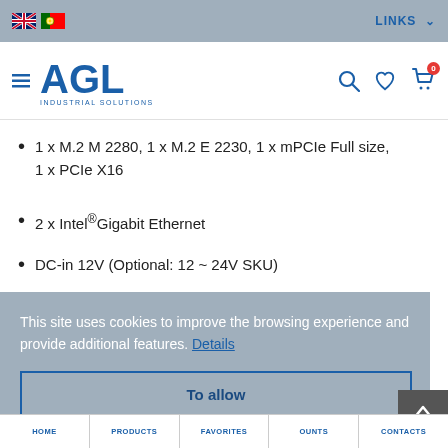AGL Industrial Solutions – Navigation header with language flags, search, wishlist, cart icons
1 x M.2 M 2280, 1 x M.2 E 2230, 1 x mPCIe Full size, 1 x PCIe X16
2 x Intel®Gigabit Ethernet
DC-in 12V (Optional: 12 ~ 24V SKU)
This site uses cookies to improve the browsing experience and provide additional features. Details
To allow
HOME  PRODUCTS  FAVORITES  OUNTS  CONTACTS